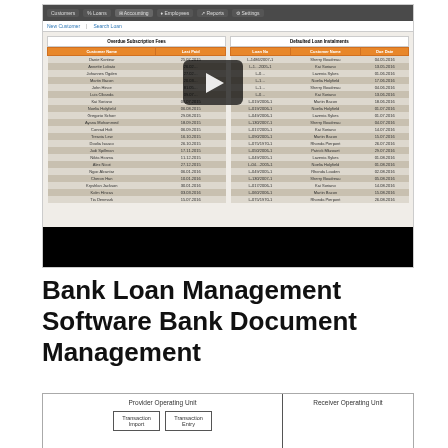[Figure (screenshot): Bank Loan Management software UI screenshot showing Overdue Subscription Fees and Defaulted Loan Instalments tables with customer data, overlaid with a video play button]
Bank Loan Management Software Bank Document Management
[Figure (engineering-diagram): Diagram showing Provider Operating Unit with Transaction Import and Transaction Entry boxes on the left, and Receiver Operating Unit on the right, separated by a vertical line]